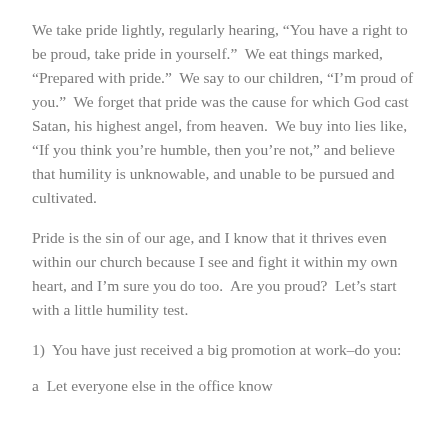We take pride lightly, regularly hearing, “You have a right to be proud, take pride in yourself.”  We eat things marked, “Prepared with pride.”  We say to our children, “I’m proud of you.”  We forget that pride was the cause for which God cast Satan, his highest angel, from heaven.  We buy into lies like, “If you think you’re humble, then you’re not,” and believe that humility is unknowable, and unable to be pursued and cultivated.
Pride is the sin of our age, and I know that it thrives even within our church because I see and fight it within my own heart, and I’m sure you do too.  Are you proud?  Let’s start with a little humility test.
1)  You have just received a big promotion at work–do you:
a  Let everyone else in the office know